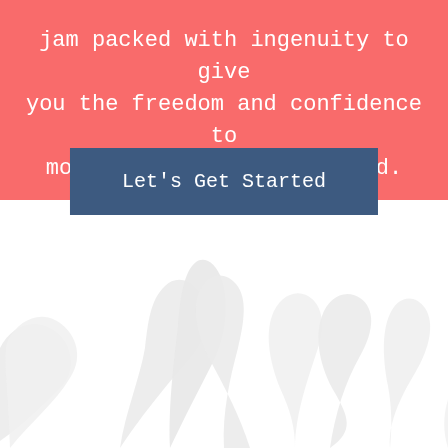jam packed with ingenuity to give you the freedom and confidence to move your business forward.
[Figure (illustration): Blue rectangular call-to-action button with text 'Let's Get Started']
[Figure (illustration): Light gray crown/bird decorative watermark illustration at the bottom of the page]